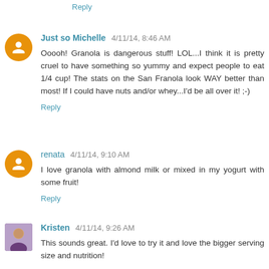Reply
Just so Michelle  4/11/14, 8:46 AM
Ooooh! Granola is dangerous stuff! LOL...I think it is pretty cruel to have something so yummy and expect people to eat 1/4 cup! The stats on the San Franola look WAY better than most! If I could have nuts and/or whey...I'd be all over it! ;-)
Reply
renata  4/11/14, 9:10 AM
I love granola with almond milk or mixed in my yogurt with some fruit!
Reply
Kristen  4/11/14, 9:26 AM
This sounds great. I'd love to try it and love the bigger serving size and nutrition!